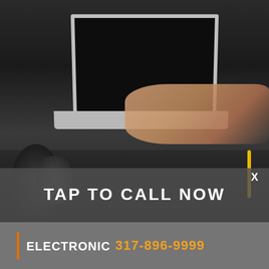[Figure (photo): A laptop computer placed on a car engine bay with a person's hands typing on the keyboard, used for electronic vehicle diagnostics.]
X
TAP TO CALL NOW
ELECTRONIC  317-896-9999